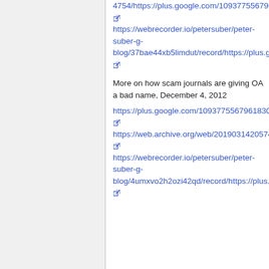4754/https://plus.google.com/109377556796183035206/posts/LQVaue6XYev [external link] https://webrecorder.io/petersuber/peter-suber-g-blog/37bae44xb5limdut/record/https://plus.google.com/109377556796183035206/posts/LQVaue6XYev [external link]
More on how scam journals are giving OA a bad name, December 4, 2012
https://plus.google.com/109377556796183035206/posts/F1NMirUhAgL [external link] https://web.archive.org/web/20190314205745/https://plus.google.com/109377556796183035206/posts/F1NMirUhAgL [external link] https://webrecorder.io/petersuber/peter-suber-g-blog/4umxvo2h2ozi42qd/record/https://plus.google.com/1093775567961830352 06/posts/F1NMirUhAgL [external link]